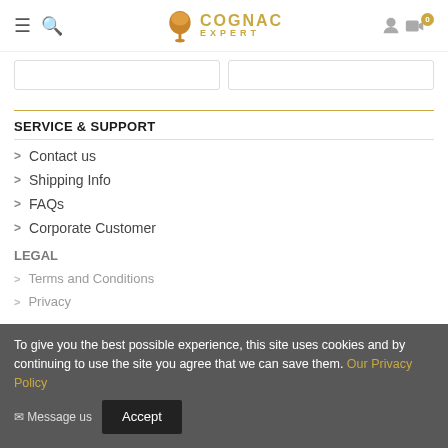COGNAC EXPERT
[Figure (screenshot): Two product card placeholders]
SERVICE & SUPPORT
Contact us
Shipping Info
FAQs
Corporate Customer
LEGAL
Terms and Conditions
Privacy
To give you the best possible experience, this site uses cookies and by continuing to use the site you agree that we can save them. Our Privacy Policy